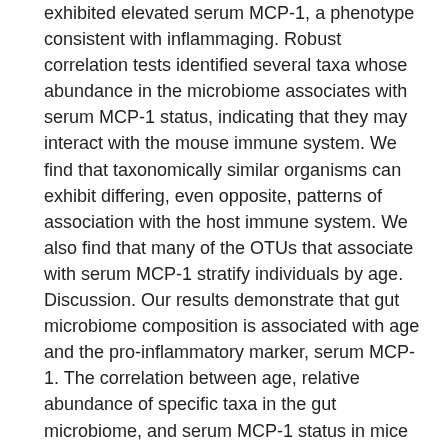exhibited elevated serum MCP-1, a phenotype consistent with inflammaging. Robust correlation tests identified several taxa whose abundance in the microbiome associates with serum MCP-1 status, indicating that they may interact with the mouse immune system. We find that taxonomically similar organisms can exhibit differing, even opposite, patterns of association with the host immune system. We also find that many of the OTUs that associate with serum MCP-1 stratify individuals by age. Discussion. Our results demonstrate that gut microbiome composition is associated with age and the pro-inflammatory marker, serum MCP-1. The correlation between age, relative abundance of specific taxa in the gut microbiome, and serum MCP-1 status in mice indicates that the gut microbiome may play a modulating role in age-related inflammatory processes. These